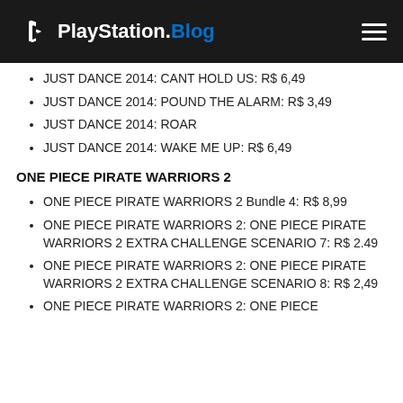PlayStation.Blog
JUST DANCE 2014: CANT HOLD US: R$ 6,49
JUST DANCE 2014: POUND THE ALARM: R$ 3,49
JUST DANCE 2014: ROAR
JUST DANCE 2014: WAKE ME UP: R$ 6,49
ONE PIECE PIRATE WARRIORS 2
ONE PIECE PIRATE WARRIORS 2 Bundle 4: R$ 8,99
ONE PIECE PIRATE WARRIORS 2: ONE PIECE PIRATE WARRIORS 2 EXTRA CHALLENGE SCENARIO 7: R$ 2.49
ONE PIECE PIRATE WARRIORS 2: ONE PIECE PIRATE WARRIORS 2 EXTRA CHALLENGE SCENARIO 8: R$ 2,49
ONE PIECE PIRATE WARRIORS 2: ONE PIECE